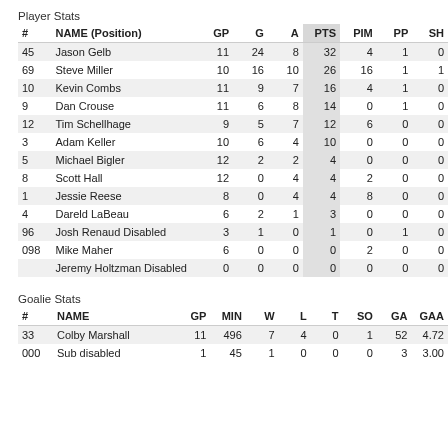Player Stats
| # | NAME (Position) | GP | G | A | PTS | PIM | PP | SH |
| --- | --- | --- | --- | --- | --- | --- | --- | --- |
| 45 | Jason Gelb | 11 | 24 | 8 | 32 | 4 | 1 | 0 |
| 69 | Steve Miller | 10 | 16 | 10 | 26 | 16 | 1 | 1 |
| 10 | Kevin Combs | 11 | 9 | 7 | 16 | 4 | 1 | 0 |
| 9 | Dan Crouse | 11 | 6 | 8 | 14 | 0 | 1 | 0 |
| 12 | Tim Schellhage | 9 | 5 | 7 | 12 | 6 | 0 | 0 |
| 3 | Adam Keller | 10 | 6 | 4 | 10 | 0 | 0 | 0 |
| 5 | Michael Bigler | 12 | 2 | 2 | 4 | 0 | 0 | 0 |
| 8 | Scott Hall | 12 | 0 | 4 | 4 | 2 | 0 | 0 |
| 1 | Jessie Reese | 8 | 0 | 4 | 4 | 8 | 0 | 0 |
| 4 | Dareld LaBeau | 6 | 2 | 1 | 3 | 0 | 0 | 0 |
| 96 | Josh Renaud Disabled | 3 | 1 | 0 | 1 | 0 | 1 | 0 |
| 098 | Mike Maher | 6 | 0 | 0 | 0 | 2 | 0 | 0 |
|  | Jeremy Holtzman Disabled | 0 | 0 | 0 | 0 | 0 | 0 | 0 |
Goalie Stats
| # | NAME | GP | MIN | W | L | T | SO | GA | GAA |
| --- | --- | --- | --- | --- | --- | --- | --- | --- | --- |
| 33 | Colby Marshall | 11 | 496 | 7 | 4 | 0 | 1 | 52 | 4.72 |
| 000 | Sub disabled | 1 | 45 | 1 | 0 | 0 | 0 | 3 | 3.00 |